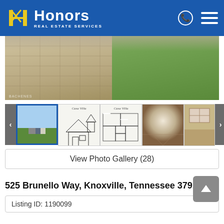Honors Real Estate Services
[Figure (photo): Main property photo showing stamped concrete driveway with green lawn and house exterior]
[Figure (photo): Thumbnail gallery strip with 5 thumbnails: house exterior, two architectural drawings/floor plans, interior hallway, and interior bedroom]
View Photo Gallery (28)
525 Brunello Way, Knoxville, Tennessee 37919
Listing ID: 1190099